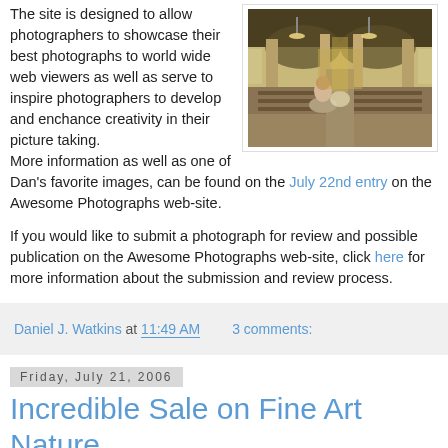The site is designed to allow photographers to showcase their best photographs to world wide web viewers as well as serve to inspire photographers to develop and enchance creativity in their picture taking. More information as well as one of Dan's favorite images, can be found on the July 22nd entry on the Awesome Photographs web-site.
[Figure (photo): Interior of a large ornate church with arched ceilings, lit chandeliers, pews with people, and a person in the foreground.]
If you would like to submit a photograph for review and possible publication on the Awesome Photographs web-site, click here for more information about the submission and review process.
Daniel J. Watkins at 11:49 AM   3 comments:
Friday, July 21, 2006
Incredible Sale on Fine Art Nature